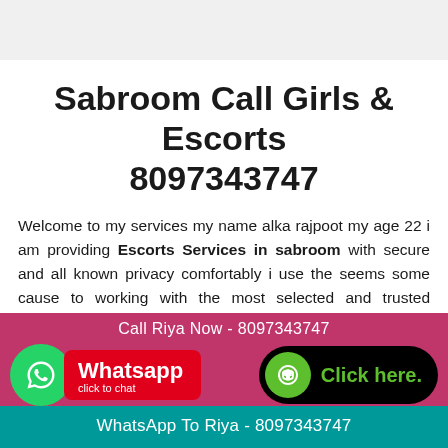Sabroom Call Girls & Escorts 8097343747
Welcome to my services my name alka rajpoot my age 22 i am providing Escorts Services in sabroom with secure and all known privacy comfortably i use the seems some cause to working with the most selected and trusted Sabroom Escorts Online if see the whole sweetly surrounding all over Sabroom
[Figure (infographic): Pink/magenta banner with WhatsApp button (green circle with phone icon, red box with 'Whatsapp click to chat'), text 'Call Riya Now - 8097343747', and black rounded button with green phone icon and 'Click here.' text. Bottom teal/cyan stripe with text 'WhatsApp To Riya - 8097343747'.]